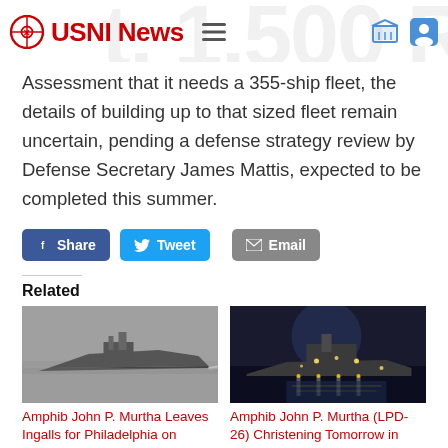USNI News
Assessment that it needs a 355-ship fleet, the details of building up to that sized fleet remain uncertain, pending a defense strategy review by Defense Secretary James Mattis, expected to be completed this summer.
[Figure (infographic): Social share buttons: Facebook Share, Twitter Tweet, Email]
Related
[Figure (photo): Grayscale aerial photo of a US Navy amphibious ship underway at sea]
Amphib John P. Murtha Leaves Ingalls for Philadelphia on Thursday
[Figure (photo): Night photo of a US Navy amphibious ship LPD-26 at dock with lights reflecting on water]
Amphib John P. Murtha (LPD-26) Christening Tomorrow in Pascagoula